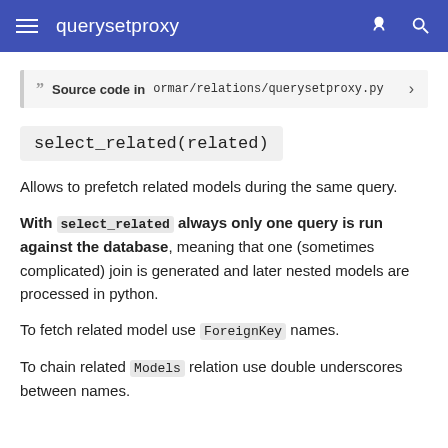querysetproxy
Source code in ormar/relations/querysetproxy.py
select_related(related)
Allows to prefetch related models during the same query.
With select_related always only one query is run against the database, meaning that one (sometimes complicated) join is generated and later nested models are processed in python.
To fetch related model use ForeignKey names.
To chain related Models relation use double underscores between names.